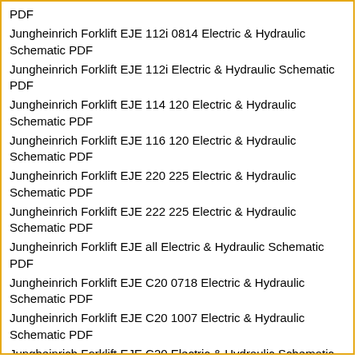PDF
Jungheinrich Forklift EJE 112i 0814 Electric & Hydraulic Schematic PDF
Jungheinrich Forklift EJE 112i Electric & Hydraulic Schematic PDF
Jungheinrich Forklift EJE 114 120 Electric & Hydraulic Schematic PDF
Jungheinrich Forklift EJE 116 120 Electric & Hydraulic Schematic PDF
Jungheinrich Forklift EJE 220 225 Electric & Hydraulic Schematic PDF
Jungheinrich Forklift EJE 222 225 Electric & Hydraulic Schematic PDF
Jungheinrich Forklift EJE all Electric & Hydraulic Schematic PDF
Jungheinrich Forklift EJE C20 0718 Electric & Hydraulic Schematic PDF
Jungheinrich Forklift EJE C20 1007 Electric & Hydraulic Schematic PDF
Jungheinrich Forklift EJE C20 Electric & Hydraulic Schematic PDF
Jungheinrich Forklift EJE2025 Electric & Hydraulic Schematic PDF